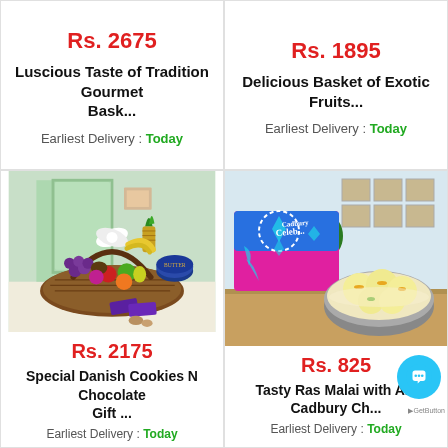Rs. 2675
Luscious Taste of Tradition Gourmet Bask...
Earliest Delivery : Today
Rs. 1895
Delicious Basket of Exotic Fruits...
Earliest Delivery : Today
[Figure (photo): A wicker fruit basket with white bow, filled with pineapple, bananas, grapes, kiwi, oranges, apples, pears, and a tin of butter cookies, with Cadbury chocolate bars beside it on a white surface.]
Rs. 2175
Special Danish Cookies N Chocolate Gift ...
Earliest Delivery : Today
[Figure (photo): A pink and blue Cadbury Celebrations gift box next to a bowl of Ras Malai dessert on a wooden table, with framed art prints on the wall behind.]
Rs. 825
Tasty Ras Malai with A... Cadbury Ch...
Earliest Delivery : Today